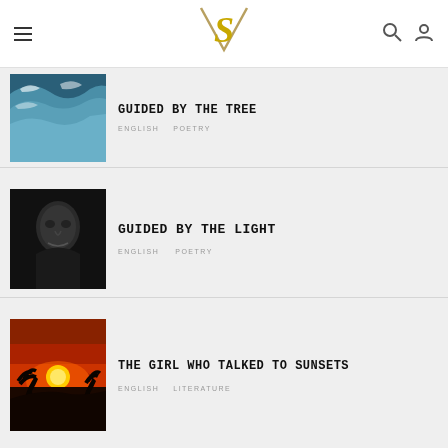S — site logo header with menu, search, and user icons
[Figure (photo): Ocean waves from above, teal and white foam — partially cropped article thumbnail]
GUIDED BY THE LIGHT
ENGLISH    POETRY
[Figure (photo): Close-up black and white portrait photo — article thumbnail for Guided by the Light]
[Figure (photo): Sunset with orange sky, silhouette of palm trees — article thumbnail for The Girl Who Talked to Sunsets]
THE GIRL WHO TALKED TO SUNSETS
ENGLISH    LITERATURE